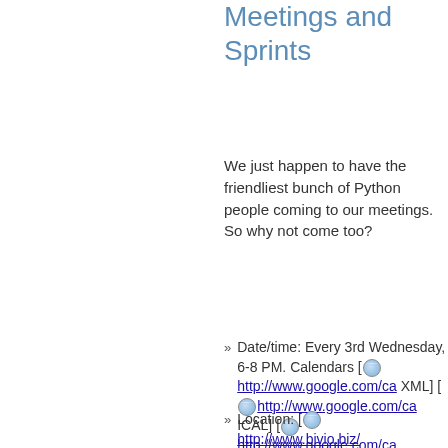Meetings and Sprints
We just happen to have the friendliest bunch of Python people coming to our meetings. So why not come too?
Date/time: Every 3rd Wednesday, 6-8 PM. Calendars [ http://www.google.com/ca XML] [ http://www.google.com/ca ICAL] [ http://www.google.com/ca src=frpythoneers%40gma HTML]
Location: [ http://www.bivio.biz/